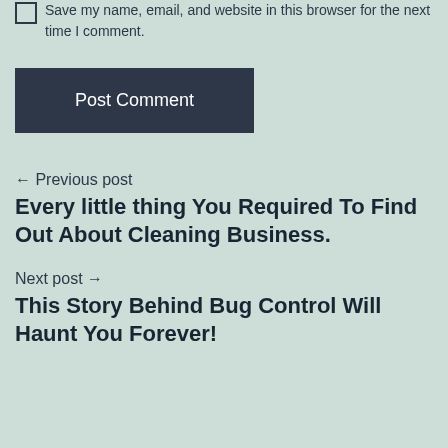Save my name, email, and website in this browser for the next time I comment.
Post Comment
← Previous post
Every little thing You Required To Find Out About Cleaning Business.
Next post →
This Story Behind Bug Control Will Haunt You Forever!